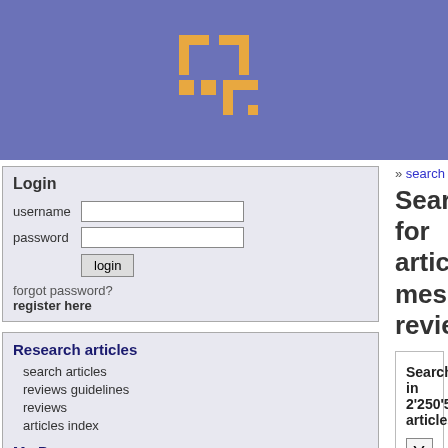[Figure (logo): Website logo with golden/orange bracket-like icon on purple/blue header background]
Login
username
password
forgot password?
register here
Research articles
search articles
reviews guidelines
reviews
articles index
My Pages
my alerts
my messages
my reviews
my favorites
» search
Search for articles, mes reviews
Search in 2'250'594 articles.
Yayu Wang
match all words (default)
match at least one of the words
match the exact phrase
Results 1 to 20 of 62 for query "Yayu Wang". (0.00 s
[ 1 2 3 4 ] Next ▶